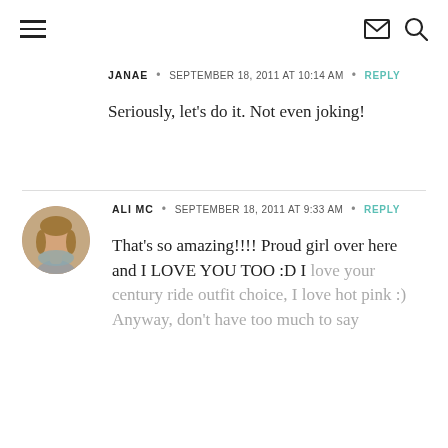Navigation header with hamburger menu, envelope icon, and search icon
JANAE • SEPTEMBER 18, 2011 AT 10:14 AM • REPLY
Seriously, let's do it. Not even joking!
[Figure (photo): Small circular avatar photo of a woman with blonde hair]
ALI MC • SEPTEMBER 18, 2011 AT 9:33 AM • REPLY
That's so amazing!!!! Proud girl over here and I LOVE YOU TOO :D I love your century ride outfit choice, I love hot pink :) Anyway, don't have too much to say